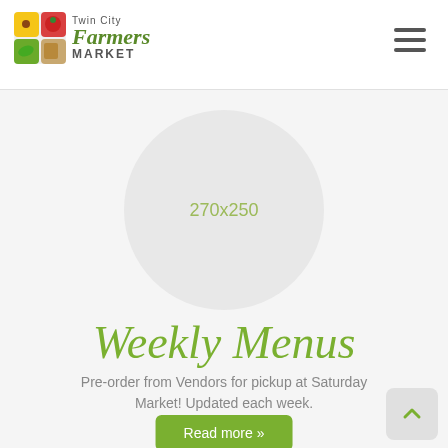[Figure (logo): Twin City Farmers Market logo with colorful icon and stylized text]
[Figure (other): Circular image placeholder showing dimensions 270x250]
Weekly Menus
Pre-order from Vendors for pickup at Saturday Market! Updated each week.
Read more »